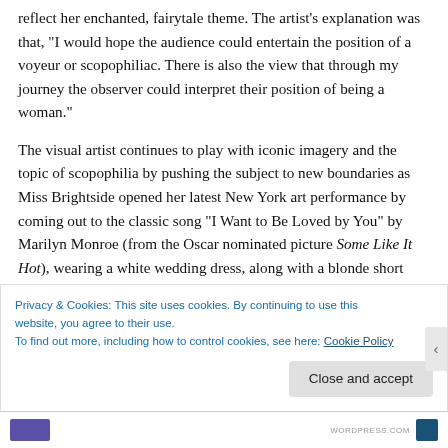reflect her enchanted, fairytale theme. The artist's explanation was that, "I would hope the audience could entertain the position of a voyeur or scopophiliac. There is also the view that through my journey the observer could interpret their position of being a woman."
The visual artist continues to play with iconic imagery and the topic of scopophilia by pushing the subject to new boundaries as Miss Brightside opened her latest New York art performance by coming out to the classic song "I Want to Be Loved by You" by Marilyn Monroe (from the Oscar nominated picture Some Like It Hot), wearing a white wedding dress, along with a blonde short wig, to personify
t
Privacy & Cookies: This site uses cookies. By continuing to use this website, you agree to their use.
To find out more, including how to control cookies, see here: Cookie Policy
Close and accept